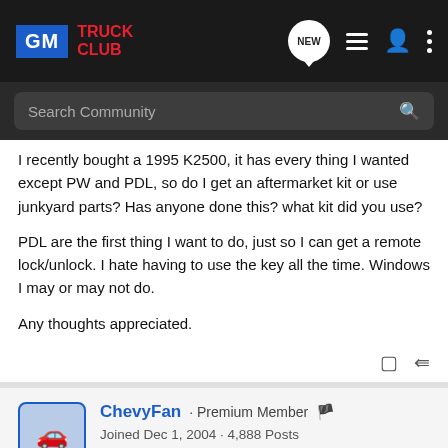GM TRUCK CLUB
I recently bought a 1995 K2500, it has every thing I wanted except PW and PDL, so do I get an aftermarket kit or use junkyard parts? Has anyone done this? what kit did you use?
PDL are the first thing I want to do, just so I can get a remote lock/unlock. I hate having to use the key all the time. Windows I may or may not do.
Any thoughts appreciated.
ChevyFan · Premium Member 🇺🇸
Joined Dec 1, 2004 · 4,888 Posts